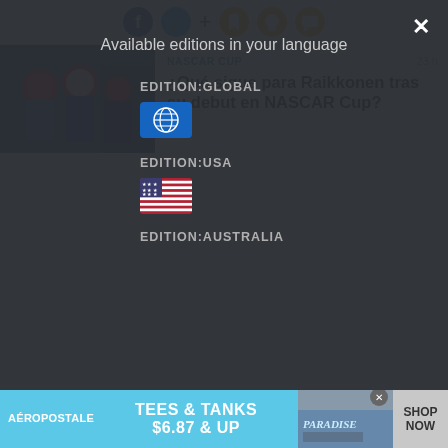[Figure (screenshot): Social media sharing icons: Facebook (blue), Twitter (blue), plus sign, bookmark icon (yellow), Snapchat ghost icon (yellow), chat bubble icon (yellow)]
[Figure (photo): Racing drivers in helmets and suits, blue/red/black color scheme, outdoor setting]
NASCAR CUP
23 h
¿Qué sigue para Raikkonen tras su debut en NASCAR Cup?
Available editions in your language
EDITION:GLOBAL
[Figure (illustration): Globe icon on blue square background representing Global edition]
EDITION:USA
[Figure (illustration): USA flag icon]
EDITION:AUSTRALIA
[Figure (screenshot): Aeropostale advertisement banner: TEES & TANKS $6.87 & UP, with photo of denim items and SHOP NOW button]